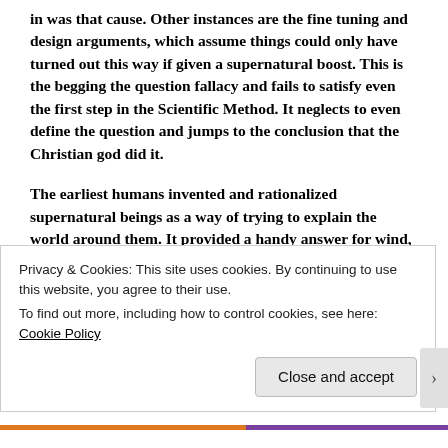in was that cause. Other instances are the fine tuning and design arguments, which assume things could only have turned out this way if given a supernatural boost. This is the begging the question fallacy and fails to satisfy even the first step in the Scientific Method. It neglects to even define the question and jumps to the conclusion that the Christian god did it.
The earliest humans invented and rationalized supernatural beings as a way of trying to explain the world around them. It provided a handy answer for wind, lightning, and natural disasters. Later, it might have been used to answer why there was disease, death, or
Privacy & Cookies: This site uses cookies. By continuing to use this website, you agree to their use.
To find out more, including how to control cookies, see here: Cookie Policy
Close and accept